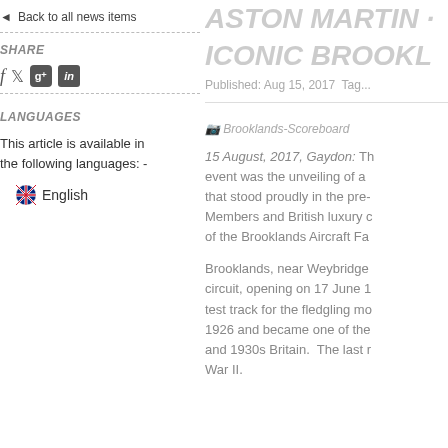Back to all news items
ASTON MARTIN ... ICONIC BROOKL...
Published: Aug 15, 2017  Tag...
SHARE
LANGUAGES
This article is available in the following languages: -
English
[Figure (other): Brooklands-Scoreboard image placeholder]
15 August, 2017, Gaydon: The event was the unveiling of a that stood proudly in the pre- Members and British luxury c of the Brooklands Aircraft Fa
Brooklands, near Weybridge circuit, opening on 17 June 1 test track for the fledgling mo 1926 and became one of the and 1930s Britain.  The last r War II.